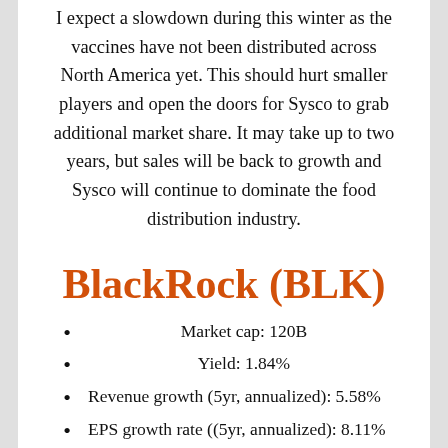I expect a slowdown during this winter as the vaccines have not been distributed across North America yet. This should hurt smaller players and open the doors for Sysco to grab additional market share. It may take up to two years, but sales will be back to growth and Sysco will continue to dominate the food distribution industry.
BlackRock (BLK)
Market cap: 120B
Yield: 1.84%
Revenue growth (5yr, annualized): 5.58%
EPS growth rate ((5yr, annualized): 8.11%
Dividend growth rate (5yr, annualized):